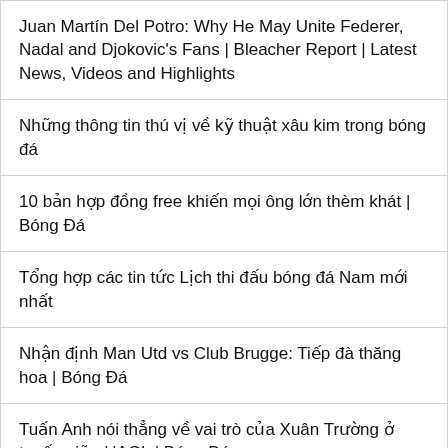Juan Martín Del Potro: Why He May Unite Federer, Nadal and Djokovic&#x27;s Fans | Bleacher Report | Latest News, Videos and Highlights
Những thông tin thú vị về kỹ thuật xâu kim trong bóng đá
10 bản hợp đồng free khiến mọi ông lớn thèm khát | Bóng Đá
Tổng hợp các tin tức Lịch thi đấu bóng đá Nam mới nhất
Nhận định Man Utd vs Club Brugge: Tiếp đà thăng hoa | Bóng Đá
Tuấn Anh nói thẳng về vai trò của Xuân Trường ở tuyến giữa HAGL | Bóng Đá
lich-thi-dau-ket-qua-bang-xep-hang-vong-loai-u19-chau-a | Tin tức, hình ảnh mới nhất về lich thi dau ket...